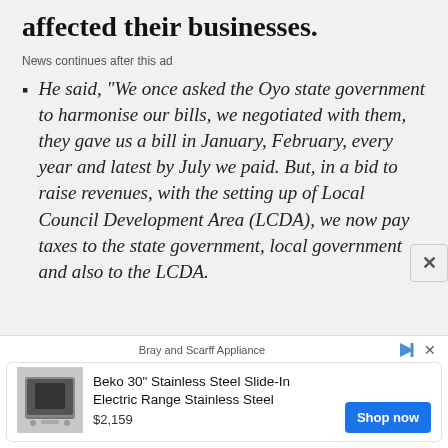affected their businesses.
News continues after this ad
He said, "We once asked the Oyo state government to harmonise our bills, we negotiated with them, they gave us a bill in January, February, every year and latest by July we paid. But, in a bid to raise revenues, with the setting up of Local Council Development Area (LCDA), we now pay taxes to the state government, local government and also to the LCDA.
[Figure (screenshot): Advertisement banner showing Bray and Scarff Appliance ad for Beko 30" Stainless Steel Slide-In Electric Range Stainless Steel priced at $2,159 with a Shop now button]